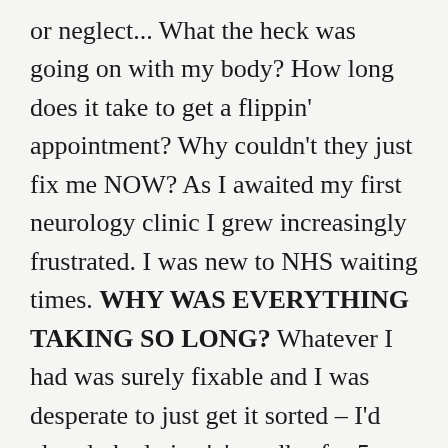or neglect... What the heck was going on with my body? How long does it take to get a flippin' appointment? Why couldn't they just fix me NOW? As I awaited my first neurology clinic I grew increasingly frustrated. I was new to NHS waiting times. WHY WAS EVERYTHING TAKING SO LONG? Whatever I had was surely fixable and I was desperate to just get it sorted – I'd already had pins 'n' needles for 5 months, how much longer was I expected to put up with all this nonsense? (Um, try a lifetime...) It's hard to recall exactly what was going through my mind at this time. If I look at photos from that summer all I see is a smiling face – what